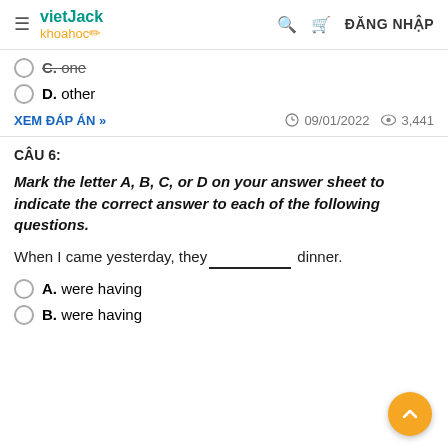vietJack khoahoc | ĐĂNG NHẬP
C. one
D. other
XEM ĐÁP ÁN » | 09/01/2022 | 3,441
CÂU 6:
Mark the letter A, B, C, or D on your answer sheet to indicate the correct answer to each of the following questions.
When I came yesterday, they__________ dinner.
A. were having
B. were having